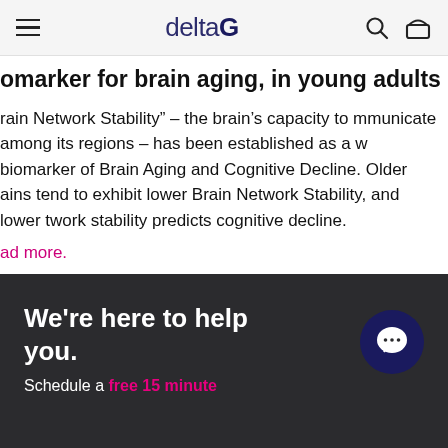deltaG
omarker for brain aging, in young adults
rain Network Stability" – the brain’s capacity to mmunicate among its regions – has been established as a w biomarker of Brain Aging and Cognitive Decline. Older ains tend to exhibit lower Brain Network Stability, and lower twork stability predicts cognitive decline.
ad more.
We're here to help you.
Schedule a free 15 minute